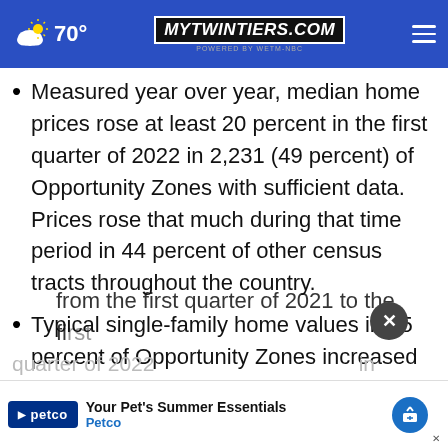70° mytwintiers.com
Measured year over year, median home prices rose at least 20 percent in the first quarter of 2022 in 2,231 (49 percent) of Opportunity Zones with sufficient data. Prices rose that much during that time period in 44 percent of other census tracts throughout the country.
Typical single-family home values in 55 percent of Opportunity Zones increased from the first quarter of 2021 to the first quarter of 2022 in
Your Pet's Summer Essentials — Petco (advertisement)